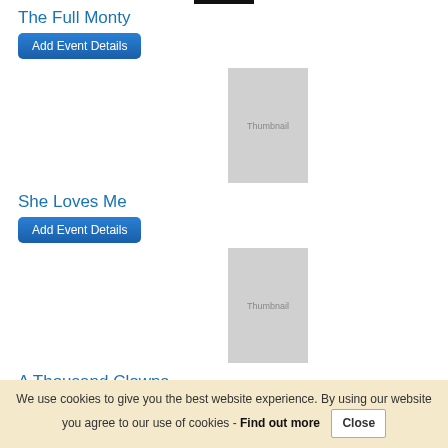The Full Monty
Add Event Details
[Figure (other): Thumbnail placeholder image (grey rectangle with 'Thumbnail' text) for The Full Monty]
She Loves Me
Add Event Details
[Figure (other): Thumbnail placeholder image (grey rectangle with 'Thumbnail' text) for She Loves Me]
A Thousand Clowns
Add Event Details
[Figure (other): Thumbnail placeholder image (grey rectangle with 'Thumbnail' text) for A Thousand Clowns]
We use cookies to give you the best website experience. By using our website you agree to our use of cookies - Find out more   Close